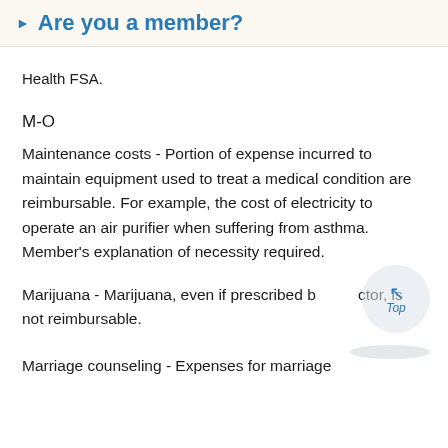Are you a member?
Health FSA.
M-O
Maintenance costs - Portion of expense incurred to maintain equipment used to treat a medical condition are reimbursable. For example, the cost of electricity to operate an air purifier when suffering from asthma. Member's explanation of necessity required.
Marijuana - Marijuana, even if prescribed by a doctor, is not reimbursable.
Marriage counseling - Expenses for marriage